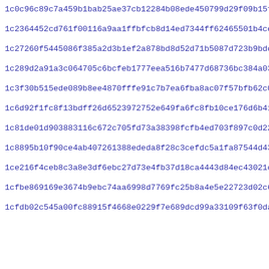1c0c96c89c7a459b1bab25ae37cb12284b08ede450799d29f09b15f47763d
1c2364452cd761f00116a9aa1ffbfcb8d14ed7344ff62465501b4ce51fdc0
1c27260f5445086f385a2d3b1ef2a878bd8d52d71b5087d723b9bdc7bd093
1c289d2a91a3c064705c6bcfeb1777eea516b7477d68736bc384a031026c9
1c3f30b515ede089b8ee4870fffe91c7b7ea6fba8ac07f57bfb62c07a3a57
1c6d92f1fc8f13bdff26d6523972752e649fa6fc8fb10ce176d6b41afa61b
1c81de01d903883116c672c705fd73a38398fcfb4ed703f897c0d22cd5749
1c8895b10f90ce4ab407261388ededa8f28c3cefdc5a1fa87544d43ef55d7
1ce216f4ceb8c3a8e3df6ebc27d73e4fb37d18ca4443d84ec43021c051bc2
1cfbe869169e3674b9ebc74aa6998d7769fc25b8a4e5e22723d02c67d560b
1cfdb02c545a00fc88915f4668e0229f7e689dcd99a33109f63f0da4ae339